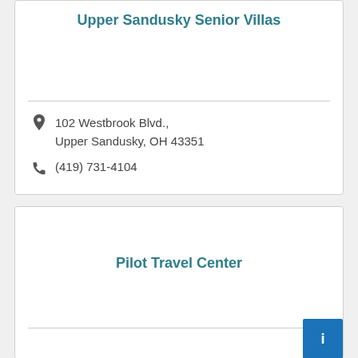Upper Sandusky Senior Villas
102 Westbrook Blvd., Upper Sandusky, OH 43351
(419) 731-4104
Pilot Travel Center